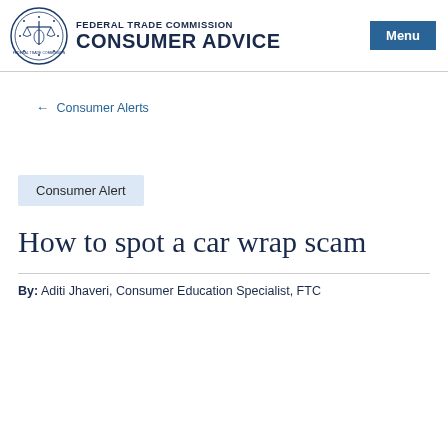FEDERAL TRADE COMMISSION CONSUMER ADVICE
← Consumer Alerts
Consumer Alert
How to spot a car wrap scam
By:  Aditi Jhaveri, Consumer Education Specialist, FTC